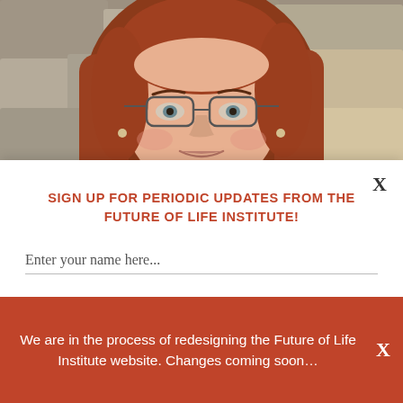[Figure (photo): Headshot photograph of a woman with long red hair and glasses, in front of a stone wall background]
X
SIGN UP FOR PERIODIC UPDATES FROM THE FUTURE OF LIFE INSTITUTE!
Enter your name here...
Enter your email address here...
We are in the process of redesigning the Future of Life Institute website. Changes coming soon...